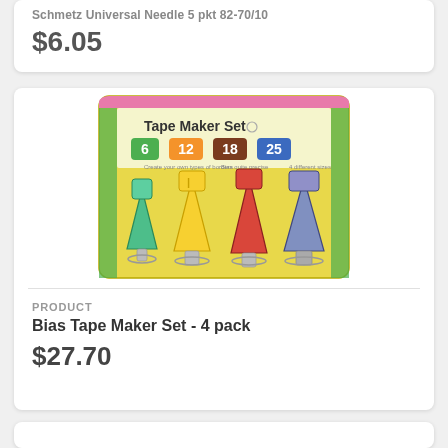Schmetz Universal Needle 5 pkt 82-70/10
$6.05
[Figure (photo): Photo of a Bias Tape Maker Set product package containing 4 tape makers in green, yellow, red, and blue colors, labeled with sizes 6, 12, 18, and 25 on a yellow/green card backing.]
PRODUCT
Bias Tape Maker Set - 4 pack
$27.70